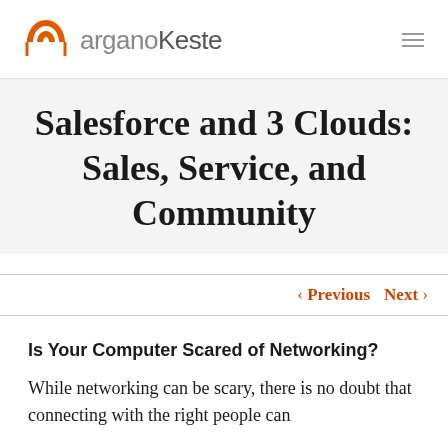arganoKeste
Salesforce and 3 Clouds: Sales, Service, and Community
< Previous   Next >
Is Your Computer Scared of Networking?
While networking can be scary, there is no doubt that connecting with the right people can